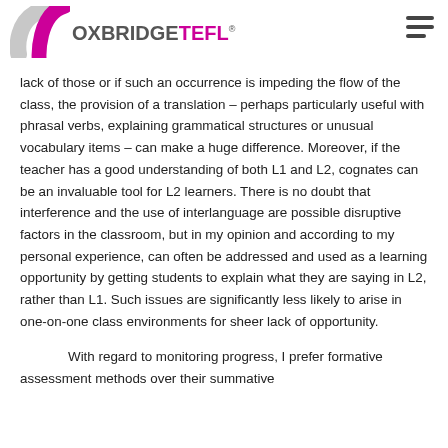OXBRIDGETEFL
lack of those or if such an occurrence is impeding the flow of the class, the provision of a translation – perhaps particularly useful with phrasal verbs, explaining grammatical structures or unusual vocabulary items – can make a huge difference. Moreover, if the teacher has a good understanding of both L1 and L2, cognates can be an invaluable tool for L2 learners. There is no doubt that interference and the use of interlanguage are possible disruptive factors in the classroom, but in my opinion and according to my personal experience, can often be addressed and used as a learning opportunity by getting students to explain what they are saying in L2, rather than L1. Such issues are significantly less likely to arise in one-on-one class environments for sheer lack of opportunity.
With regard to monitoring progress, I prefer formative assessment methods over their summative